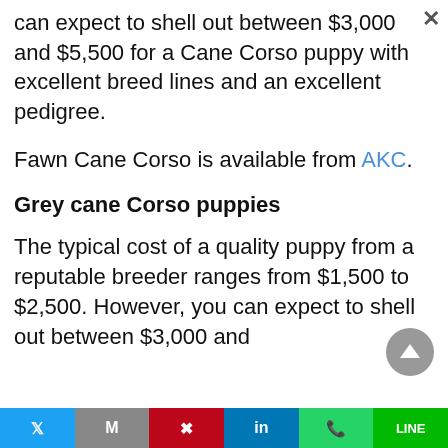can expect to shell out between $3,000 and $5,500 for a Cane Corso puppy with excellent breed lines and an excellent pedigree.
Fawn Cane Corso is available from AKC.
Grey cane Corso puppies
The typical cost of a quality puppy from a reputable breeder ranges from $1,500 to $2,500. However, you can expect to shell out between $3,000 and
Twitter | Gmail | Pinterest | LinkedIn | WhatsApp | LINE